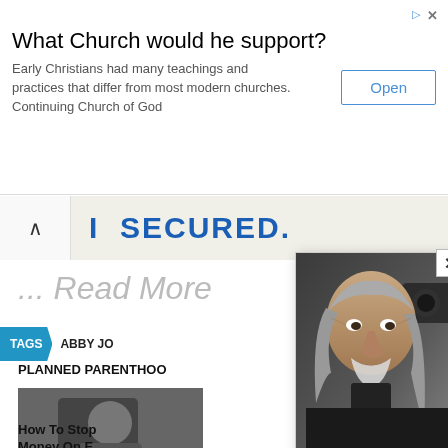[Figure (screenshot): Advertisement banner: 'What Church would he support?' with Open button]
[Figure (screenshot): Secured banner bar with back arrow and SECURED text in blue]
... Read More
TAGS  ABBY JO
PLANNED PARENTHOO
[Figure (photo): Thumbnail photo - person in dark clothing]
How To Stop Money On E Repairs
[Figure (photo): Modal popup with photo of elderly man with long gray hair and beard, Willie Nelson]
A Tragic End Today For Willie Nelson